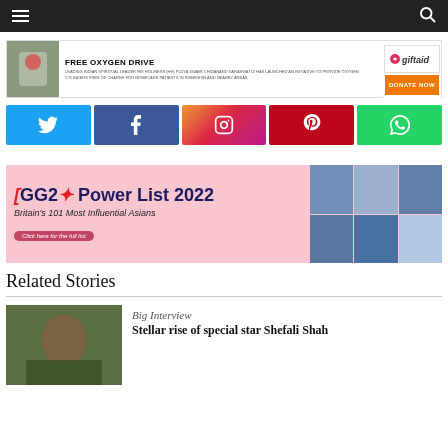Navigation bar with hamburger menu and search icon
[Figure (infographic): FREE OXYGEN DRIVE advertisement banner. Leading Indian spiritual leader His Holiness (HH) Pujya Swami Chidanand Saraswatiji has launched an initiative to provide oxygen cylinders free of charge for homecare patients in Rishikesh and nearby areas. Includes Giftaid logo and DONATE NOW button.]
[Figure (infographic): Social media icon buttons: Twitter (blue), Facebook (dark blue), Instagram (gradient), Pinterest (red), WhatsApp (green)]
[Figure (infographic): GG2 Power List 2022 advertisement banner with text 'Britain's 101 Most Influential Asians' and 'Click here for the full list'. Features a grid of six portrait photos on the right side.]
Related Stories
Big Interview
Stellar rise of special star Shefali Shah